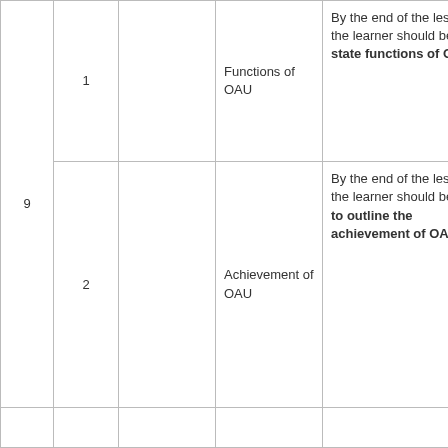| Week | Lesson | Topic/Sub-topic | Specific Objectives | Activities |
| --- | --- | --- | --- | --- |
| 9 | 1 | Functions of OAU | By the end of the lesson the learner should be able state functions of OAU | – Expl
– Disc |
| 9 | 2 | Achievement of OAU | By the end of the lesson the learner should be able to outline the achievement of OAU | – Obse
– Disc
– expl |
|  |  |  |  | – |